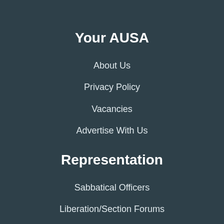Your AUSA
About Us
Privacy Policy
Vacancies
Advertise With Us
Representation
Sabbatical Officers
Liberation/Section Forums
Class Reps
Student Council